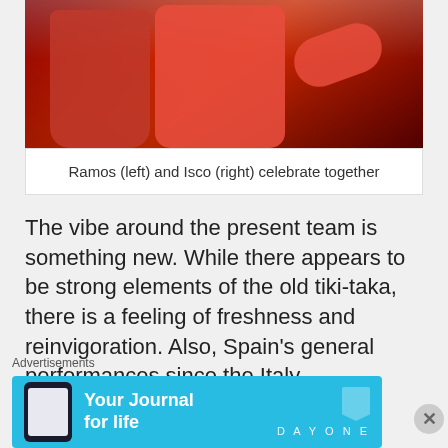[Figure (photo): Two Spanish football players in red jerseys celebrating together. Ramos on the left, Isco on the right with mouth open in celebration.]
Ramos (left) and Isco (right) celebrate together
The vibe around the present team is something new. While there appears to be strong elements of the old tiki-taka, there is a feeling of freshness and reinvigoration. Also, Spain’s general performances since the Italy
Advertisements
[Figure (other): Advertisement banner for Day One app - Your Journal for life, shown in cyan/blue with a phone mockup and bookmark logo on the right.]